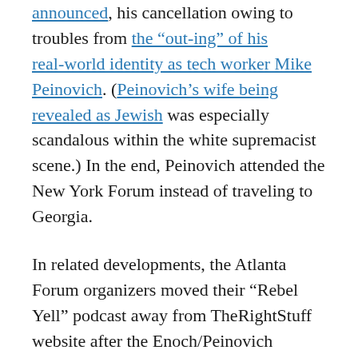announced, his cancellation owing to troubles from the “out-ing” of his real-world identity as tech worker Mike Peinovich. (Peinovich’s wife being revealed as Jewish was especially scandalous within the white supremacist scene.) In the end, Peinovich attended the New York Forum instead of traveling to Georgia.

In related developments, the Atlanta Forum organizers moved their “Rebel Yell” podcast away from TheRightStuff website after the Enoch/Peinovich controversy broke. They rebranded as “Identity Dixie,” launching their new site a week before the Atlanta Forum. As evidenced by “Musonius Rufus” later appearing on Peinovich’s “Daily Shoah” to discuss the Atlanta Forum, ties to TheRightStuff remain